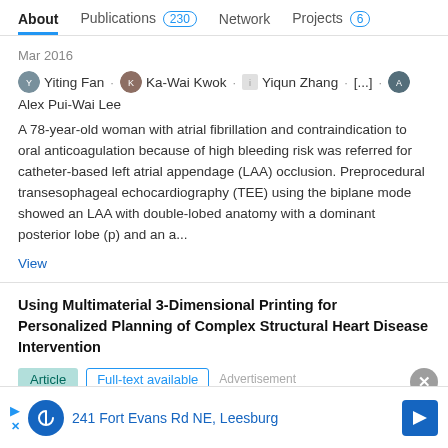About  Publications 230  Network  Projects 6
Mar 2016
Yiting Fan · Ka-Wai Kwok · Yiqun Zhang · [...] · Alex Pui-Wai Lee
A 78-year-old woman with atrial fibrillation and contraindication to oral anticoagulation because of high bleeding risk was referred for catheter-based left atrial appendage (LAA) occlusion. Preprocedural transesophageal echocardiography (TEE) using the biplane mode showed an LAA with double-lobed anatomy with a dominant posterior lobe (p) and an a...
View
Using Multimaterial 3-Dimensional Printing for Personalized Planning of Complex Structural Heart Disease Intervention
Article  Full-text available